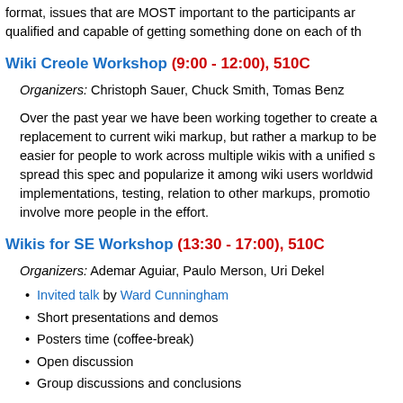format, issues that are MOST important to the participants are qualified and capable of getting something done on each of th
Wiki Creole Workshop (9:00 - 12:00), 510C
Organizers: Christoph Sauer, Chuck Smith, Tomas Benz
Over the past year we have been working together to create a replacement to current wiki markup, but rather a markup to be easier for people to work across multiple wikis with a unified s spread this spec and popularize it among wiki users worldwide implementations, testing, relation to other markups, promotion involve more people in the effort.
Wikis for SE Workshop (13:30 - 17:00), 510C
Organizers: Ademar Aguiar, Paulo Merson, Uri Dekel
Invited talk by Ward Cunningham
Short presentations and demos
Posters time (coffee-break)
Open discussion
Group discussions and conclusions
Wiki Film Festival (19:00 - 20:15), 510B